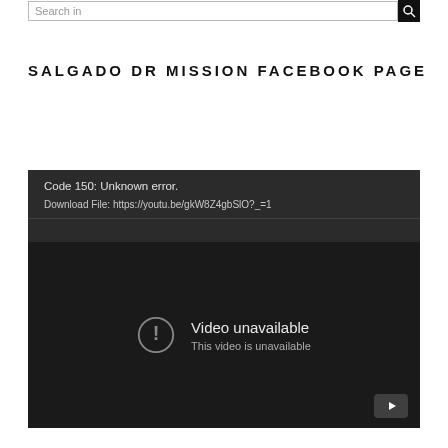Search in
SALGADO DR MISSION FACEBOOK PAGE
[Figure (screenshot): Embedded video player showing an error message. Error text reads: 'Code 150: Unknown error.' and 'Download File: https://youtu.be/gkW8Z4gbSlO?_=1'. The video screen shows a 'Video unavailable' message with an exclamation icon and subtext 'This video is unavailable'. A YouTube logo button is visible at the bottom right of the player.]